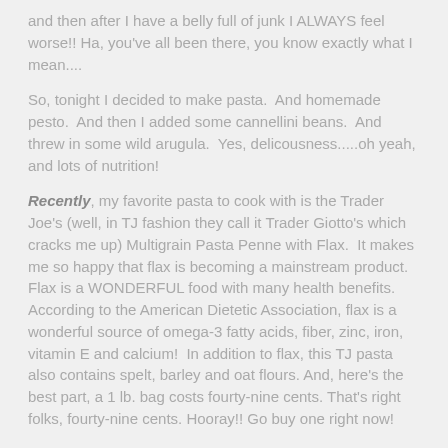and then after I have a belly full of junk I ALWAYS feel worse!! Ha, you've all been there, you know exactly what I mean....
So, tonight I decided to make pasta.  And homemade pesto.  And then I added some cannellini beans.  And threw in some wild arugula.  Yes, delicousness.....oh yeah, and lots of nutrition!
Recently, my favorite pasta to cook with is the Trader Joe's (well, in TJ fashion they call it Trader Giotto's which cracks me up) Multigrain Pasta Penne with Flax.  It makes me so happy that flax is becoming a mainstream product.  Flax is a WONDERFUL food with many health benefits.  According to the American Dietetic Association, flax is a wonderful source of omega-3 fatty acids, fiber, zinc, iron, vitamin E and calcium!  In addition to flax, this TJ pasta also contains spelt, barley and oat flours. And, here's the best part, a 1 lb. bag costs fourty-nine cents. That's right folks, fourty-nine cents. Hooray!! Go buy one right now!